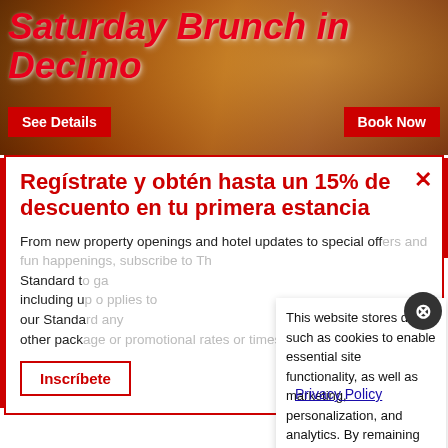Saturday Brunch in Decimo
See Details
Book Now
Regístrate y obtén hasta un 15% de descuento en tu primera estancia
From new property openings and hotel updates to special offers and fun happenings, subscribe to The Standard to gain access to all our perks, including up to 15% off. This discount applies to our Standard Members and cannot be used with any other packages or promotional rates or times.
Inscríbete
This website stores data such as cookies to enable essential site functionality, as well as marketing, personalization, and analytics. By remaining on this website you indicate your consent.
Privacy Policy
Happenings